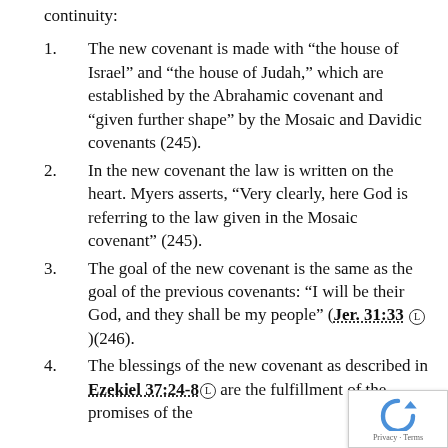continuity:
The new covenant is made with “the house of Israel” and “the house of Judah,” which are established by the Abrahamic covenant and “given further shape” by the Mosaic and Davidic covenants (245).
In the new covenant the law is written on the heart. Myers asserts, “Very clearly, here God is referring to the law given in the Mosaic covenant” (245).
The goal of the new covenant is the same as the goal of the previous covenants: “I will be their God, and they shall be my people” (Jer. 31:33)(246).
The blessings of the new covenant as described in Ezekiel 37:24-8 are the fulfillment of the promises of the